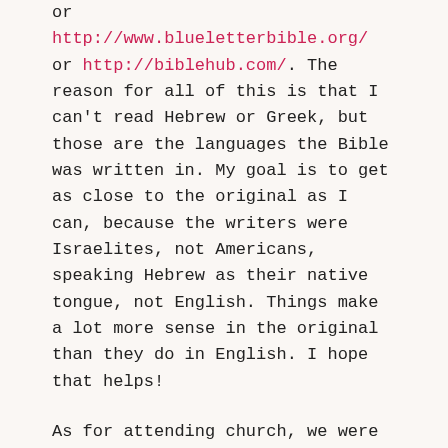or http://www.blueletterbible.org/ or http://biblehub.com/. The reason for all of this is that I can't read Hebrew or Greek, but those are the languages the Bible was written in. My goal is to get as close to the original as I can, because the writers were Israelites, not Americans, speaking Hebrew as their native tongue, not English. Things make a lot more sense in the original than they do in English. I hope that helps!
As for attending church, we were raised Baptist, and my